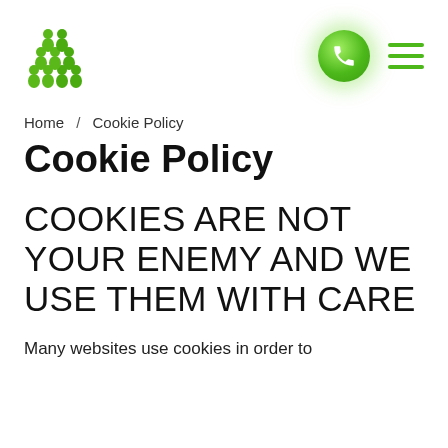[Figure (logo): Green people/group icon logo arranged in a bar-chart-like pyramid of green figures]
[Figure (illustration): Green circle phone button with white phone handset icon and green glow effect]
[Figure (illustration): Green hamburger menu icon with three horizontal lines]
Home / Cookie Policy
Cookie Policy
COOKIES ARE NOT YOUR ENEMY AND WE USE THEM WITH CARE
Many websites use cookies in order to